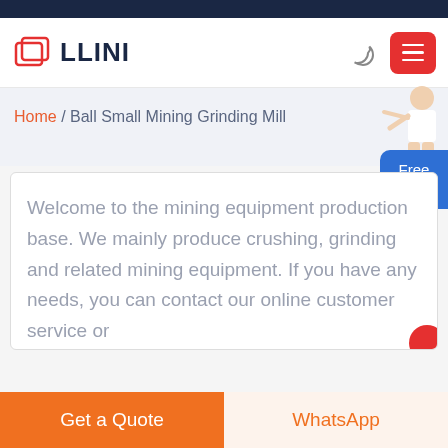LLINI
Home / Ball Small Mining Grinding Mill
Welcome to the mining equipment production base. We mainly produce crushing, grinding and related mining equipment. If you have any needs, you can contact our online customer service or
Get a Quote
WhatsApp